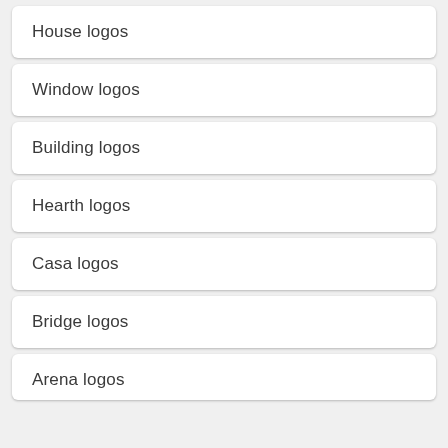House logos
Window logos
Building logos
Hearth logos
Casa logos
Bridge logos
Arena logos